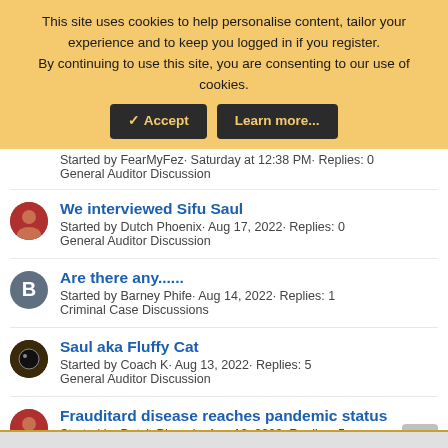This site uses cookies to help personalise content, tailor your experience and to keep you logged in if you register. By continuing to use this site, you are consenting to our use of cookies.
Accept | Learn more...
Started by FearMyFez· Saturday at 12:38 PM· Replies: 0
General Auditor Discussion
We interviewed Sifu Saul
Started by Dutch Phoenix· Aug 17, 2022· Replies: 0
General Auditor Discussion
Are there any......
Started by Barney Phife· Aug 14, 2022· Replies: 1
Criminal Case Discussions
Saul aka Fluffy Cat
Started by Coach K· Aug 13, 2022· Replies: 5
General Auditor Discussion
Frauditard disease reaches pandemic status
Started by Dutch Phoenix· Aug 10, 2022· Replies: 5
General Auditor Discussion